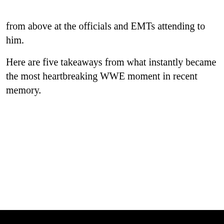from above at the officials and EMTs attending to him.
Here are five takeaways from what instantly became the most heartbreaking WWE moment in recent memory.